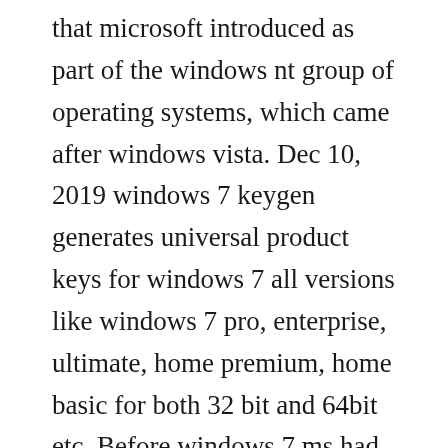that microsoft introduced as part of the windows nt group of operating systems, which came after windows vista. Dec 10, 2019 windows 7 keygen generates universal product keys for windows 7 all versions like windows 7 pro, enterprise, ultimate, home premium, home basic for both 32 bit and 64bit etc. Before windows 7 ms had launched windows xp, which was very simple and easy to use. Those, who are facing issues with their current working windows seven in the device. Apr 09, 2020 often when you install windows